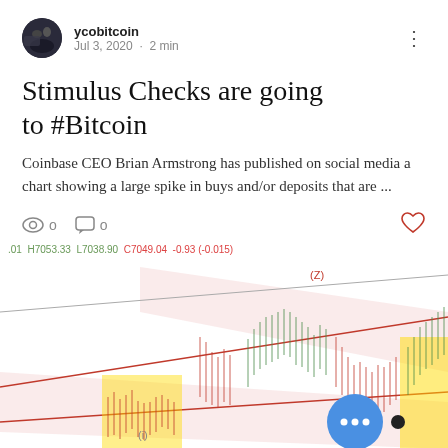ycobitcoin · Jul 3, 2020 · 2 min
Stimulus Checks are going to #Bitcoin
Coinbase CEO Brian Armstrong has published on social media a chart showing a large spike in buys and/or deposits that are ...
👁 0   💬 0   ♡
[Figure (continuous-plot): Bitcoin candlestick price chart with annotated trend channels. Shows OHLC data: H7053.33 L7038.90 C7049.04 -0.93 (-0.015). Pink shaded channel region, red trend lines, yellow highlighted areas at left and right edges, and a blue circular button with ellipsis overlay at bottom right. A label '(Z)' appears near the top of the chart, and '(i)' near the bottom left.]